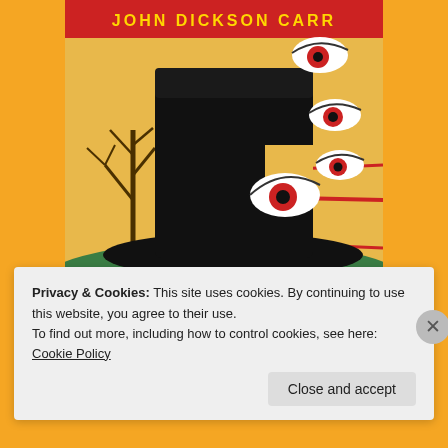[Figure (illustration): Book cover of a Popular Library edition showing a large black top hat with surreal eyeballs peeking from behind and beneath it, set against a yellow background with a bare tree on the left. The text 'JOHN DICKSON CARR' appears in a red banner at the top, and 'POPULAR LIBRARY' appears at the bottom of the cover.]
Privacy & Cookies: This site uses cookies. By continuing to use this website, you agree to their use.
To find out more, including how to control cookies, see here: Cookie Policy
Close and accept